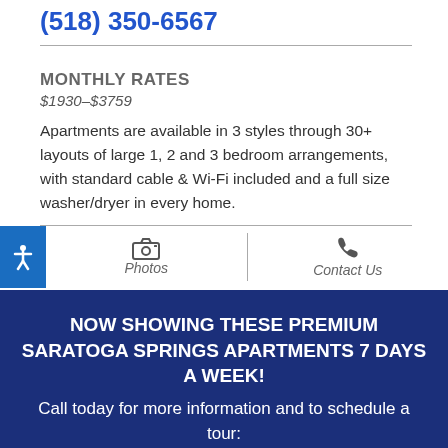(518) 350-6567
MONTHLY RATES
$1930–$3759
Apartments are available in 3 styles through 30+ layouts of large 1, 2 and 3 bedroom arrangements, with standard cable & Wi-Fi included and a full size washer/dryer in every home.
[Figure (infographic): Accessibility icon button (blue), Photos button with camera icon, Contact Us button with phone icon]
NOW SHOWING THESE PREMIUM SARATOGA SPRINGS APARTMENTS 7 DAYS A WEEK!
Call today for more information and to schedule a tour:
Empire Run